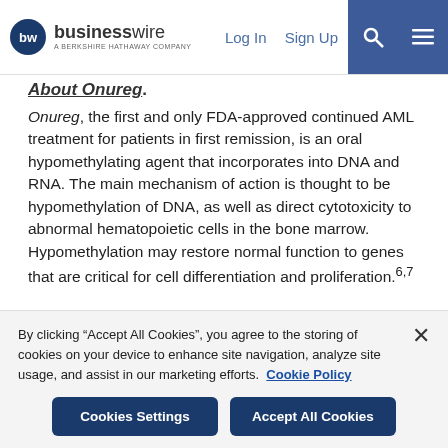businesswire — A BERKSHIRE HATHAWAY COMPANY | Log In | Sign Up
About Onureg.
Onureg, the first and only FDA-approved continued AML treatment for patients in first remission, is an oral hypomethylating agent that incorporates into DNA and RNA. The main mechanism of action is thought to be hypomethylation of DNA, as well as direct cytotoxicity to abnormal hematopoietic cells in the bone marrow. Hypomethylation may restore normal function to genes that are critical for cell differentiation and proliferation.6,7
INDICATION
By clicking "Accept All Cookies", you agree to the storing of cookies on your device to enhance site navigation, analyze site usage, and assist in our marketing efforts. Cookie Policy
Cookies Settings | Accept All Cookies